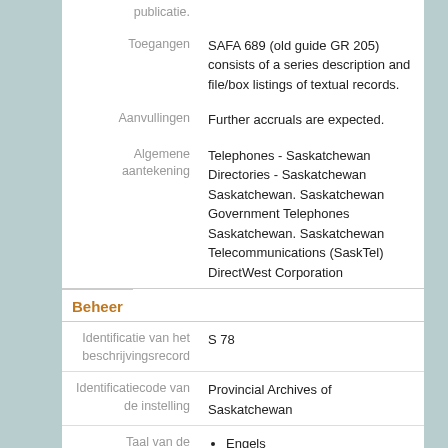| Toegangen | SAFA 689 (old guide GR 205) consists of a series description and file/box listings of textual records. |
| Aanvullingen | Further accruals are expected. |
| Algemene aantekening | Telephones - Saskatchewan
Directories - Saskatchewan
Saskatchewan. Saskatchewan Government Telephones
Saskatchewan. Saskatchewan Telecommunications (SaskTel)
DirectWest Corporation |
Beheer
| Identificatie van het beschrijvingsrecord | S 78 |
| Identificatiecode van de instelling | Provincial Archives of Saskatchewan |
| Taal van de beschrijving | Engels |